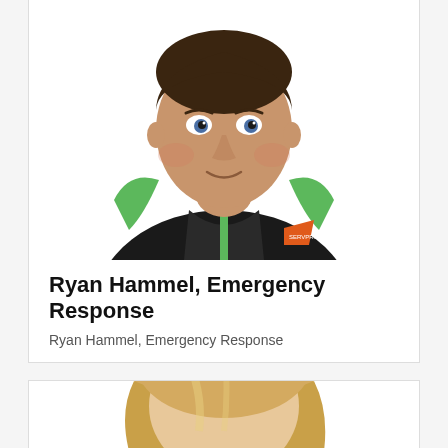[Figure (photo): Headshot of Ryan Hammel wearing a black polo shirt with green shoulder accent and a SERVPRO logo patch, white background]
Ryan Hammel, Emergency Response
Ryan Hammel, Emergency Response
[Figure (photo): Partial headshot of a woman with blonde hair, white background, cropped at bottom of page]